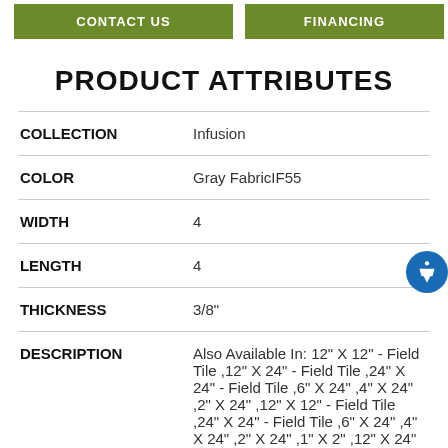CONTACT US   FINANCING
PRODUCT ATTRIBUTES
| Attribute | Value |
| --- | --- |
| COLLECTION | Infusion |
| COLOR | Gray FabricIF55 |
| WIDTH | 4 |
| LENGTH | 4 |
| THICKNESS | 3/8" |
| DESCRIPTION | Also Available In: 12" X 12" - Field Tile ,12" X 24" - Field Tile ,24" X 24" - Field Tile ,6" X 24" ,4" X 24" ,2" X 24" ,12" X 12" - Field Tile ,24" X 24" - Field Tile ,6" X 24" ,4" X 24" ,2" X 24" ,1" X 2" ,12" X 24" |